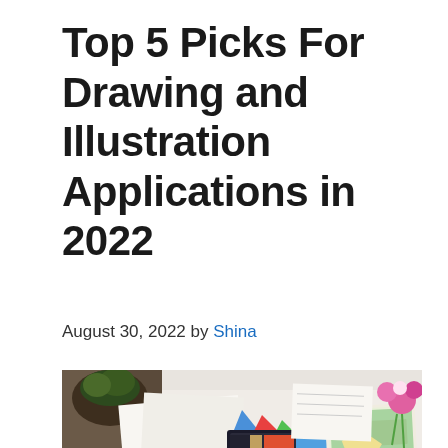Top 5 Picks For Drawing and Illustration Applications in 2022
August 30, 2022 by Shina
[Figure (photo): Overhead view of a person sitting at a desk working on a tablet/computer with drawing and illustration software open, surrounded by art supplies, papers with colorful illustrations, pink flowers, and a coffee cup.]